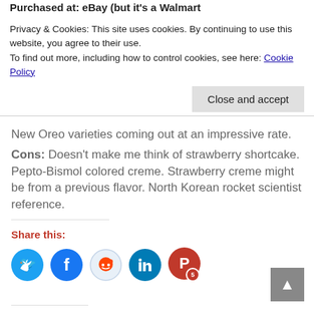Purchased at: eBay (but it's a Walmart
Privacy & Cookies: This site uses cookies. By continuing to use this website, you agree to their use.
To find out more, including how to control cookies, see here: Cookie Policy
Close and accept
New Oreo varieties coming out at an impressive rate.
Cons: Doesn't make me think of strawberry shortcake. Pepto-Bismol colored creme. Strawberry creme might be from a previous flavor. North Korean rocket scientist reference.
Share this:
[Figure (other): Social sharing icons: Twitter (blue circle), Facebook (blue circle), Reddit (light blue circle), LinkedIn (teal circle), Pinterest (red circle with badge '5')]
[Figure (other): Back to top button (grey square with up arrow)]